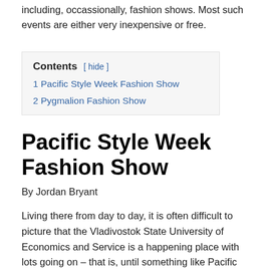including, occassionally, fashion shows. Most such events are either very inexpensive or free.
Contents [ hide ]
1 Pacific Style Week Fashion Show
2 Pygmalion Fashion Show
Pacific Style Week Fashion Show
By Jordan Bryant
Living there from day to day, it is often difficult to picture that the Vladivostok State University of Economics and Service is a happening place with lots going on – that is, until something like Pacific Style Week comes up.
Being the location of what is arguably the most well-